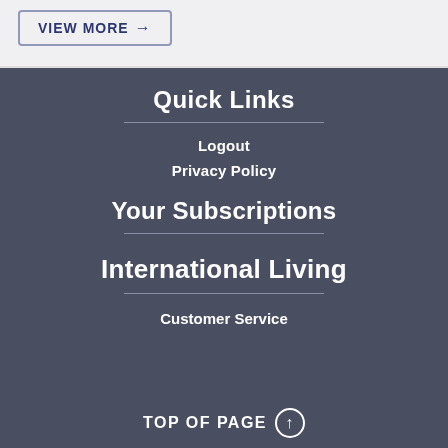VIEW MORE →
Quick Links
Logout
Privacy Policy
Your Subscriptions
International Living
Customer Service
TOP OF PAGE ⊕